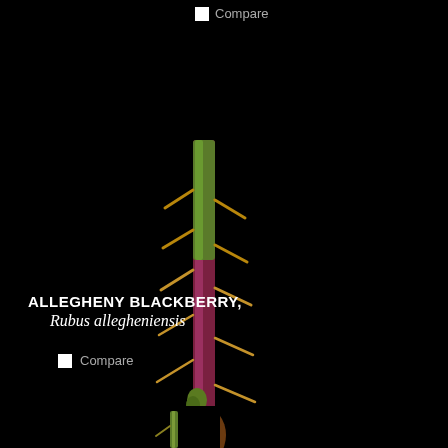Compare
[Figure (photo): Close-up photograph of a thorny reddish-purple stem of Rubus allegheniensis (Allegheny Blackberry) with multiple sharp spines and a leaf bud node, set against a black background.]
ALLEGHENY BLACKBERRY, Rubus allegheniensis
Compare
[Figure (photo): Partial view of another plant stem at the very bottom of the page against black background.]